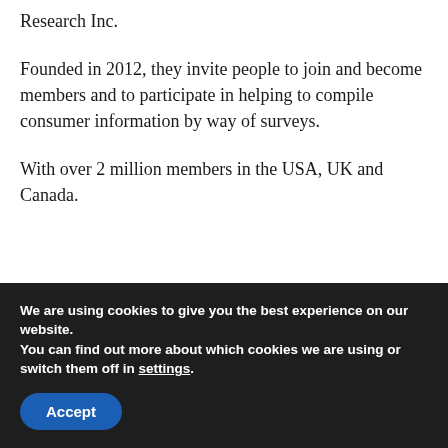Research Inc.
Founded in 2012, they invite people to join and become members and to participate in helping to compile consumer information by way of surveys.
With over 2 million members in the USA, UK and Canada.
We are using cookies to give you the best experience on our website.
You can find out more about which cookies we are using or switch them off in settings.
Accept